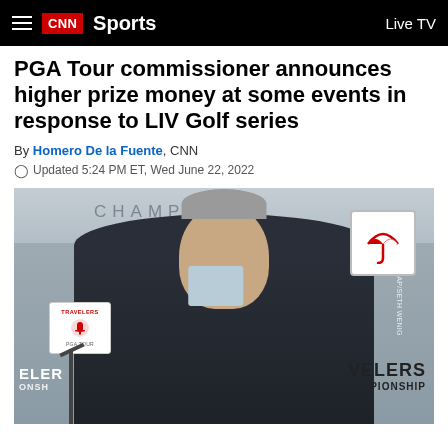CNN Sports — Live TV
PGA Tour commissioner announces higher prize money at some events in response to LIV Golf series
By Homero De la Fuente, CNN
Updated 5:24 PM ET, Wed June 22, 2022
[Figure (photo): PGA Tour Commissioner Jay Monahan speaking at a press conference at the Travelers Championship, with microphones and Travelers Championship branding visible in the background.]